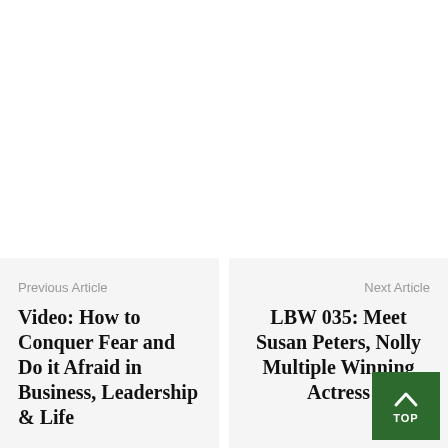Previous Article
Video: How to Conquer Fear and Do it Afraid in Business, Leadership & Life
Next Article
LBW 035: Meet Susan Peters, Nolly Multiple Winning Actress